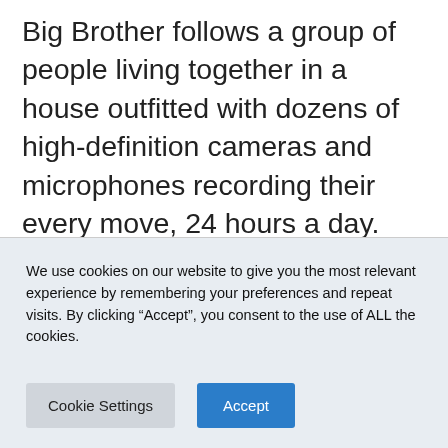Big Brother follows a group of people living together in a house outfitted with dozens of high-definition cameras and microphones recording their every move, 24 hours a day. Each week, the Houseguests will vote someone out of the house. In the end, the last remaining Houseguest will receive the grand prize of $500,000.
We use cookies on our website to give you the most relevant experience by remembering your preferences and repeat visits. By clicking “Accept”, you consent to the use of ALL the cookies.